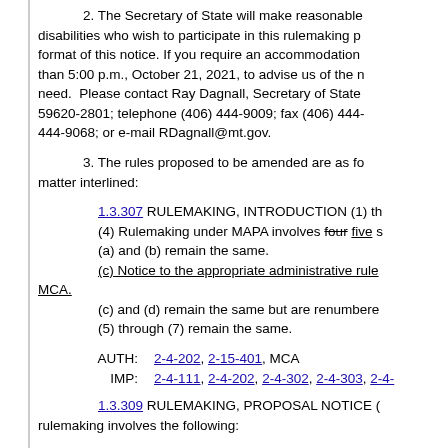2. The Secretary of State will make reasonable disabilities who wish to participate in this rulemaking p format of this notice. If you require an accommodation than 5:00 p.m., October 21, 2021, to advise us of the n need. Please contact Ray Dagnall, Secretary of State 59620-2801; telephone (406) 444-9009; fax (406) 444 444-9068; or e-mail RDagnall@mt.gov.
3. The rules proposed to be amended are as fo matter interlined:
1.3.307 RULEMAKING, INTRODUCTION (1) th (4) Rulemaking under MAPA involves four five s (a) and (b) remain the same. (c) Notice to the appropriate administrative rule MCA. (c) and (d) remain the same but are renumbere (5) through (7) remain the same.
AUTH: 2-4-202, 2-15-401, MCA IMP: 2-4-111, 2-4-202, 2-4-302, 2-4-303, 2-4-
1.3.309 RULEMAKING, PROPOSAL NOTICE ( rulemaking involves the following: